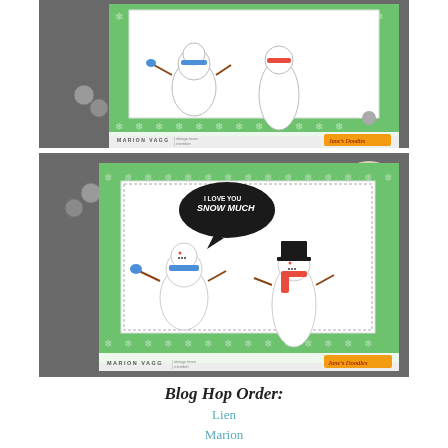[Figure (photo): Top photograph of a handmade Christmas/winter card featuring two snowmen on a white panel with a green snowflake-patterned background. Card credited to MARION VAGG, design team member, Jane's Doodles.]
[Figure (photo): Bottom photograph of a similar handmade card with two snowmen and a speech bubble reading 'I LOVE YOU SNOW MUCH', green snowflake border, white panel. Credited to MARION VAGG, design team member, Jane's Doodles.]
Blog Hop Order:
Lien
Marion
Milka
Claudia